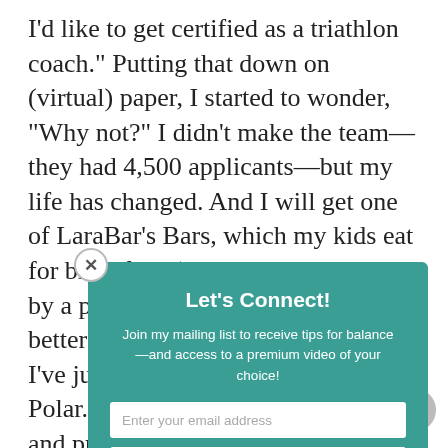I'd like to get certified as a triathlon coach." Putting that down on (virtual) paper, I started to wonder, "Why not?" I didn't make the team—they had 4,500 applicants—but my life has changed. And I will get one of LaraBar's Bars, which my kids eat for breakfast. (Yes, seriously. I ran it by a pediatrician, who conceded, "It's better than Froot Loops.) Meanwhile I've just applied for sponsorship by Polar. I use a Polar watch every day and preach the benefits of heart rate monitoring in my Spinning classes. My hopes are high. And
[Figure (other): Modal popup overlay with teal background. Contains: close button (X), title 'Let's Connect!', body text 'Join my mailing list to receive tips for balance—and access to a premium video of your choice!', email input field 'Enter your email address', and SUBSCRIBE! button.]